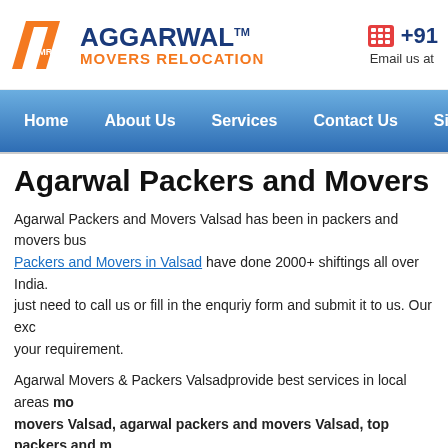AGGARWAL MOVERS RELOCATION | AMR logo | +91... | Email us at
Home | About Us | Services | Contact Us | Sitem...
Agarwal Packers and Movers Valsad
Agarwal Packers and Movers Valsad has been in packers and movers bus... Packers and Movers in Valsad have done 2000+ shiftings all over India. just need to call us or fill in the enquriy form and submit it to us. Our exc... your requirement.
Agarwal Movers & Packers Valsadprovide best services in local areas movers Valsad, agarwal packers and movers Valsad, top packers and m... movers in Valsad, movers and packers in Valsad - Gujarat, packers ane... movers Valsad storage Valsad - Gujarat, cheap rates.